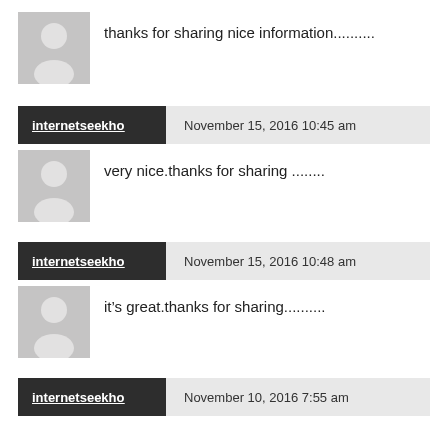[Figure (illustration): Default avatar placeholder — gray silhouette of a person on light gray background]
thanks for sharing nice information..........
internetseekho   November 15, 2016 10:45 am
[Figure (illustration): Default avatar placeholder — gray silhouette of a person on light gray background]
very nice.thanks for sharing ........
internetseekho   November 15, 2016 10:48 am
[Figure (illustration): Default avatar placeholder — gray silhouette of a person on light gray background]
it’s great.thanks for sharing..........
internetseekho   November 10, 2016 7:55 am